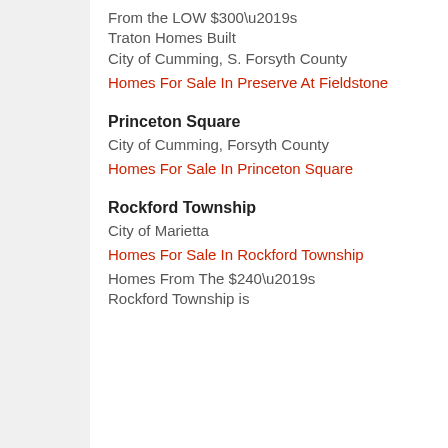From the LOW $300’s
Traton Homes Built
City of Cumming, S. Forsyth County
Homes For Sale In Preserve At Fieldstone
Princeton Square
City of Cumming, Forsyth County
Homes For Sale In Princeton Square
Rockford Township
City of Marietta
Homes For Sale In Rockford Township
Homes From The $240’s
Rockford Township is